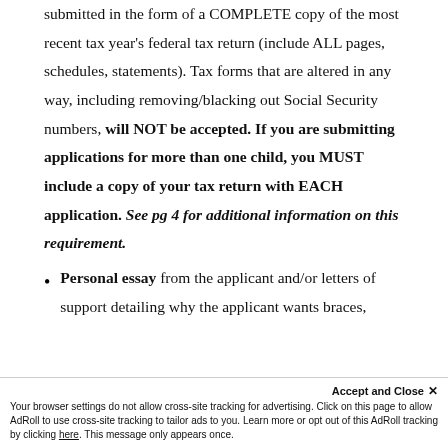submitted in the form of a COMPLETE copy of the most recent tax year's federal tax return (include ALL pages, schedules, statements). Tax forms that are altered in any way, including removing/blacking out Social Security numbers, will NOT be accepted. If you are submitting applications for more than one child, you MUST include a copy of your tax return with EACH application. See pg 4 for additional information on this requirement.
Personal essay from the applicant and/or letters of support detailing why the applicant wants braces, how they feel their life might be improved (optional but encouraged)
Your browser settings do not allow cross-site tracking for advertising. Click on this page to allow AdRoll to use cross-site tracking to tailor ads to you. Learn more or opt out of this AdRoll tracking by clicking here. This message only appears once.